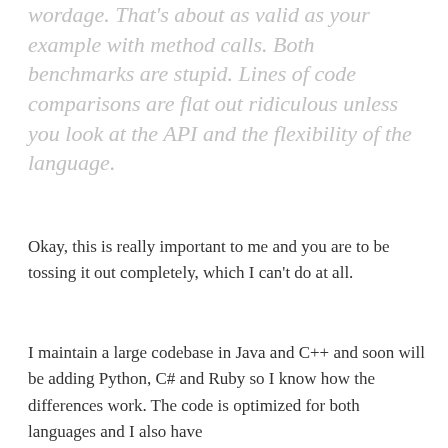wordage. That's about as valid as your example with method calls. Both benchmarks are stupid. Lines of code comparisons are flat out ridiculous unless you look at the API and the flexibility of the language.
Okay, this is really important to me and you are to be tossing it out completely, which I can't do at all.
I maintain a large codebase in Java and C++ and soon will be adding Python, C# and Ruby so I know how the differences work. The code is optimized for both languages and I also have